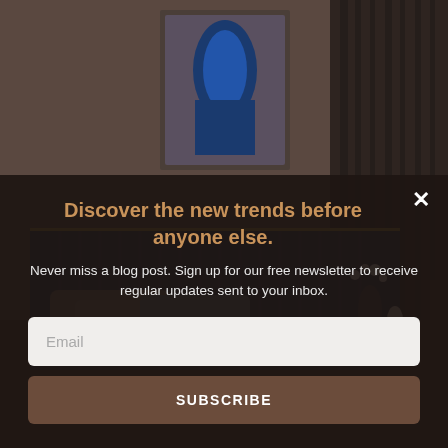[Figure (photo): Dark moody bedroom interior with navy blue ribbed headboard, decorative pillows, wall art with blue oval shapes, and a small vase of flowers on the nightstand. Dark brown curtains in background.]
Discover the new trends before anyone else.
Never miss a blog post. Sign up for our free newsletter to receive regular updates sent to your inbox.